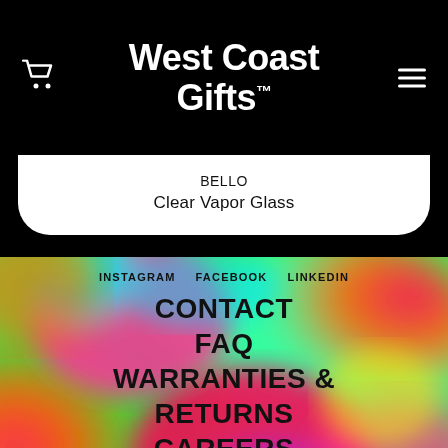West Coast Gifts™
BELLO
Clear Vapor Glass
[Figure (illustration): Colorful psychedelic swirling pattern background in neon green, pink, red, blue, and yellow tones]
INSTAGRAM   FACEBOOK   LINKEDIN
CONTACT
FAQ
WARRANTIES & RETURNS
CAREERS
© WEST COAST GIFTS INC.